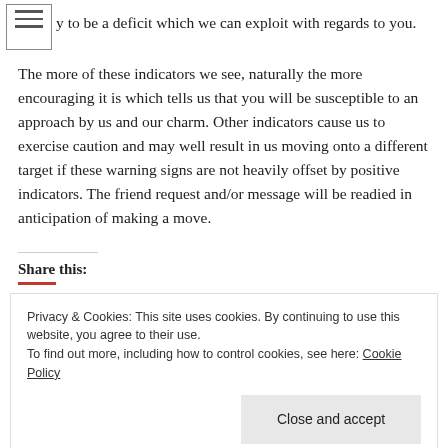y to be a deficit which we can exploit with regards to you.
The more of these indicators we see, naturally the more encouraging it is which tells us that you will be susceptible to an approach by us and our charm. Other indicators cause us to exercise caution and may well result in us moving onto a different target if these warning signs are not heavily offset by positive indicators. The friend request and/or message will be readied in anticipation of making a move.
Share this:
Privacy & Cookies: This site uses cookies. By continuing to use this website, you agree to their use.
To find out more, including how to control cookies, see here: Cookie Policy
Close and accept